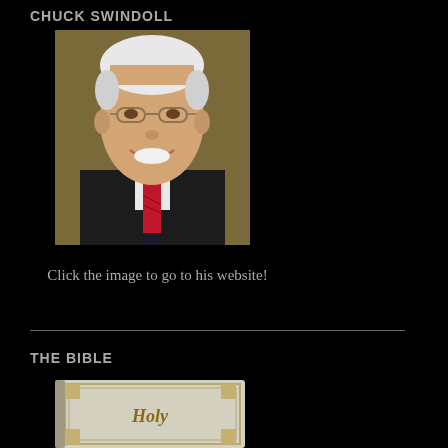CHUCK SWINDOLL
[Figure (photo): Portrait photo of Chuck Swindoll, an elderly white-haired man with glasses in a dark suit and red tie, smiling against a brown/gold background]
Click the image to go to his website!
THE BIBLE
[Figure (photo): Photo of a white/silver Holy Bible with decorative border and gothic-style 'Holy' text visible on the cover]